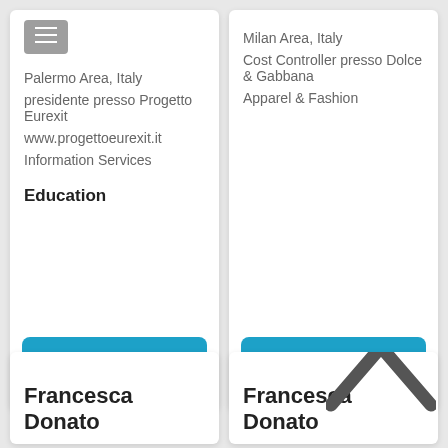Palermo Area, Italy
presidente presso Progetto Eurexit
www.progettoeurexit.it
Information Services
Education
[Figure (other): Show more button (blue rounded rectangle)]
Milan Area, Italy
Cost Controller presso Dolce & Gabbana
Apparel & Fashion
[Figure (other): Show more button (blue rounded rectangle)]
Francesca Donato
Francesca Donato
[Figure (other): Up chevron/caret icon in dark grey]